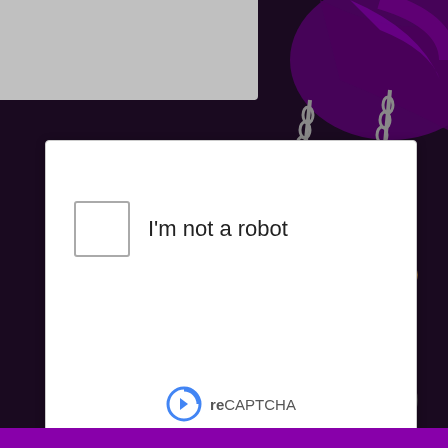[Figure (screenshot): Dark fantasy/gaming website background with illustrated hanging potions (green and brown bottles) on chains against a dark purple background with tentacle-like shapes]
[Figure (screenshot): reCAPTCHA widget showing checkbox 'I'm not a robot' with reCAPTCHA logo, Privacy and Terms links]
I'm not a robot
reCAPTCHA
Privacy · Terms
Subscribe!
This site uses functional cookies and external scripts to improve your experience.
My settings
Accept